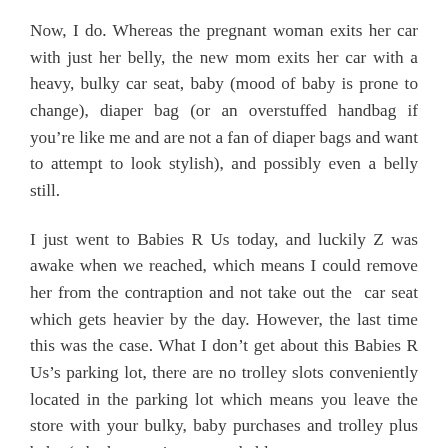Now, I do. Whereas the pregnant woman exits her car with just her belly, the new mom exits her car with a heavy, bulky car seat, baby (mood of baby is prone to change), diaper bag (or an overstuffed handbag if you're like me and are not a fan of diaper bags and want to attempt to look stylish), and possibly even a belly still.
I just went to Babies R Us today, and luckily Z was awake when we reached, which means I could remove her from the contraption and not take out the car seat which gets heavier by the day. However, the last time this was the case. What I don't get about this Babies R Us's parking lot, there are no trolley slots conveniently located in the parking lot which means you leave the store with your bulky, baby purchases and trolley plus baby (who by now is most probably